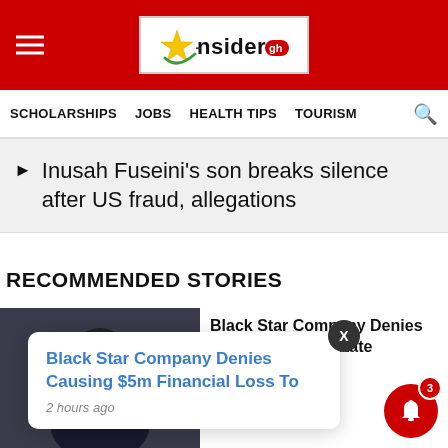InsiderGh - header with hamburger menu and logo
SCHOLARSHIPS  JOBS  HEALTH TIPS  TOURISM
Inusah Fuseini's son breaks silence after US fraud, allegations
RECOMMENDED STORIES
Black Star Company Denies Causing To The State
Black Star Company Denies Causing $5m Financial Loss To
2 hours ago